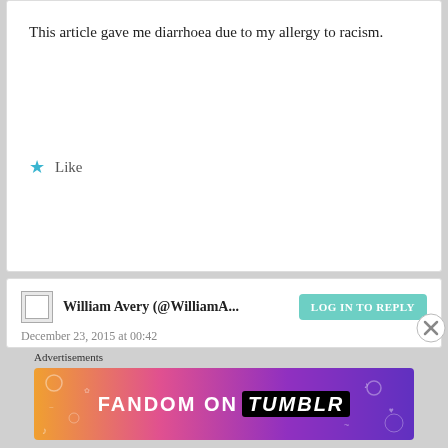This article gave me diarrhoea due to my allergy to racism.
Like
William Avery (@WilliamA...
December 23, 2015 at 00:42
The link to Kimiko Akito's paper on Memoirs of a Geisha doesn't work for me. It can be found at
http://www.globalmediajournal.com/open-access/orientalism-and-the-binary-of-fact-and-fiction-in-memoirs-of-a-geisha.pdf
Advertisements
[Figure (illustration): Fandom on Tumblr advertisement banner with colorful gradient background]